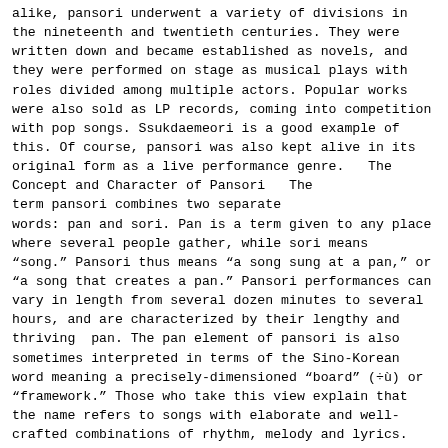alike, pansori underwent a variety of divisions in the nineteenth and twentieth centuries. They were written down and became established as novels, and they were performed on stage as musical plays with roles divided among multiple actors. Popular works were also sold as LP records, coming into competition with pop songs. Ssukdaemeori is a good example of this. Of course, pansori was also kept alive in its original form as a live performance genre.   The Concept and Character of Pansori   The term pansori combines two separate words: pan and sori. Pan is a term given to any place where several people gather, while sori means “song.” Pansori thus means “a song sung at a pan,” or “a song that creates a pan.” Pansori performances can vary in length from several dozen minutes to several hours, and are characterized by their lengthy and thriving  pan. The pan element of pansori is also sometimes interpreted in terms of the Sino-Korean word meaning a precisely-dimensioned “board” (÷ù) or “framework.” Those who take this view explain that the name refers to songs with elaborate and well-crafted combinations of rhythm, melody and lyrics. The physical format of pansori is simple. As long as a